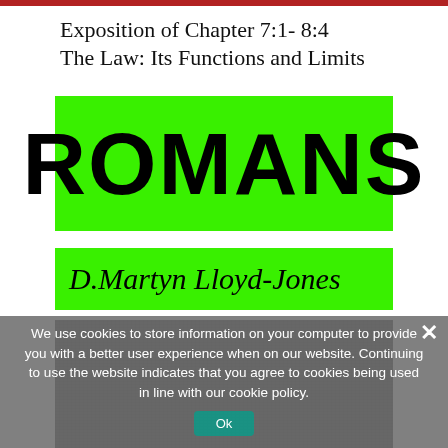Exposition of Chapter 7:1- 8:4
The Law: Its Functions and Limits
[Figure (illustration): Book cover showing the word ROMANS in large black bold text on a bright green background, with author name D.Martyn Lloyd-Jones in italic on a green banner, and a crowd photograph below]
We use cookies to store information on your computer to provide you with a better user experience when on our website. Continuing to use the website indicates that you agree to cookies being used in line with our cookie policy.